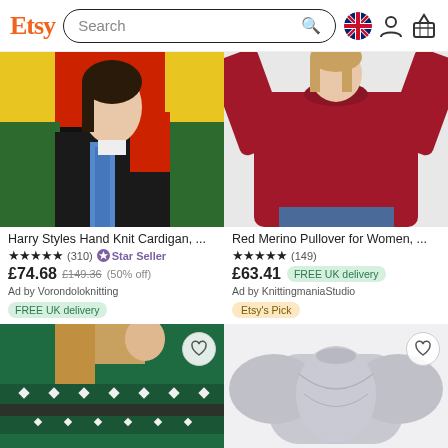Etsy — Search bar with UK flag, user and basket icons
[Figure (photo): Harry Styles Hand Knit Cardigan product photo showing woman in colourful block-colour knit cardigan]
Harry Styles Hand Knit Cardigan, ...
★★★★★ (310) ⭐ Star Seller
£74.68 £149.36 (50% off) Ad by Vorondoloknitting FREE UK delivery
[Figure (photo): Red Merino Pullover for Women product photo showing woman in red oversized sweater]
Red Merino Pullover for Women, ...
★★★★★ (149)
£63.41 FREE UK delivery Ad by KnittingmaniaStudio Etsy's Pick
[Figure (photo): Green fair isle Nordic knit sweater close-up]
[Figure (photo): Grey cropped bolero shrug sweater on white background]